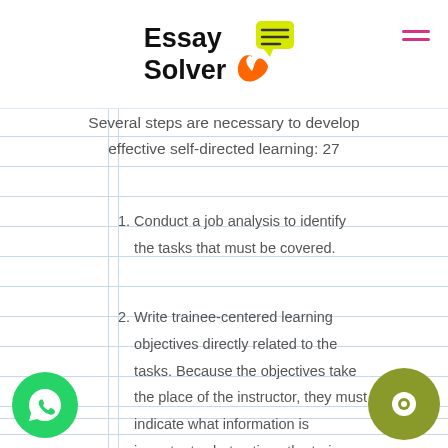Essay Solver
Several steps are necessary to develop effective self-directed learning: 27
1. Conduct a job analysis to identify the tasks that must be covered.
2. Write trainee-centered learning objectives directly related to the tasks. Because the objectives take the place of the instructor, they must indicate what information is important, what actions the trainee should take, and what the trainee should master.